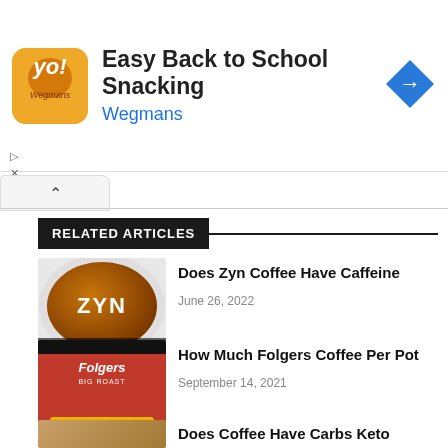[Figure (infographic): Advertisement banner for Wegmans Easy Back to School Snacking with logo and navigation arrow]
Easy Back to School Snacking
Wegmans
RELATED ARTICLES
Does Zyn Coffee Have Caffeine
June 26, 2022
How Much Folgers Coffee Per Pot
September 14, 2021
Does Coffee Have Carbs Keto